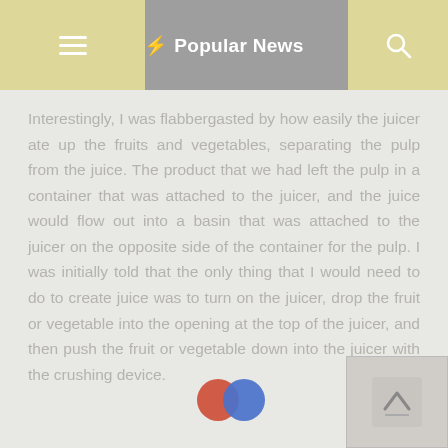☰   ⚡ Popular News   🔍
Interestingly, I was flabbergasted by how easily the juicer ate up the fruits and vegetables, separating the pulp from the juice. The product that we had left the pulp in a container that was attached to the juicer, and the juice would flow out into a basin that was attached to the juicer on the opposite side of the container for the pulp. I was initially told that the only thing that I would need to do to create juice was to turn on the juicer, drop the fruit or vegetable into the opening at the top of the juicer, and then push the fruit or vegetable down into the juicer with the crushing device.
[Figure (other): Two overlapping circles annotation: red circle on left, blue circle on right, overlapping, positioned mid-page over text]
[Figure (other): Back-to-top button with upward arrow icon in bottom-right corner]